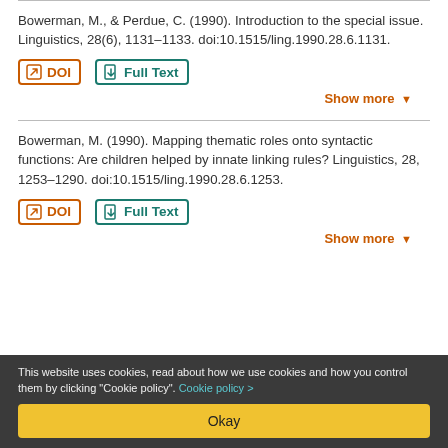Bowerman, M., & Perdue, C. (1990). Introduction to the special issue. Linguistics, 28(6), 1131–1133. doi:10.1515/ling.1990.28.6.1131.
DOI | Full Text
Show more
Bowerman, M. (1990). Mapping thematic roles onto syntactic functions: Are children helped by innate linking rules? Linguistics, 28, 1253–1290. doi:10.1515/ling.1990.28.6.1253.
DOI | Full Text
Show more
This website uses cookies, read about how we use cookies and how you control them by clicking "Cookie policy". Cookie policy >
Okay